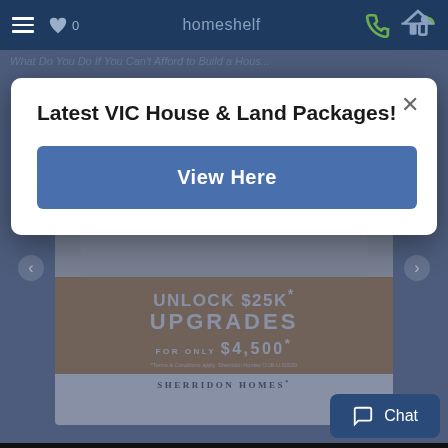homeshelf
[Figure (screenshot): Mobile app screenshot showing homeshelf navigation bar with hamburger menu, heart/favorites icon with count 0, app title 'homeshelf', phone icon, and home icon]
Latest VIC House & Land Packages!
View Here
[Figure (photo): Advertisement showing a house exterior with orange banner reading 'UNLOCK $25K* UPGRADES FOR ONLY $4,500*' and Sherridon Homes branding]
Chat